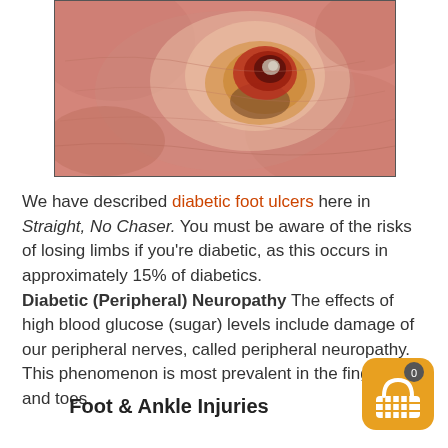[Figure (photo): Close-up photo of a diabetic foot ulcer – an open wound on pinkish skin showing a red lesion with darkened center and surrounding orange-yellowish discoloration.]
We have described diabetic foot ulcers here in Straight, No Chaser. You must be aware of the risks of losing limbs if you're diabetic, as this occurs in approximately 15% of diabetics. Diabetic (Peripheral) Neuropathy The effects of high blood glucose (sugar) levels include damage of our peripheral nerves, called peripheral neuropathy. This phenomenon is most prevalent in the fingers and toes.
Foot & Ankle Injuries